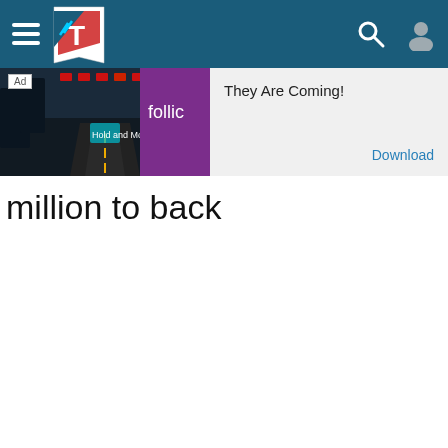Navigation header with hamburger menu, logo, search icon, and user icon
[Figure (screenshot): Advertisement banner for Follic game 'They Are Coming!' with game screenshot and download button]
million to back